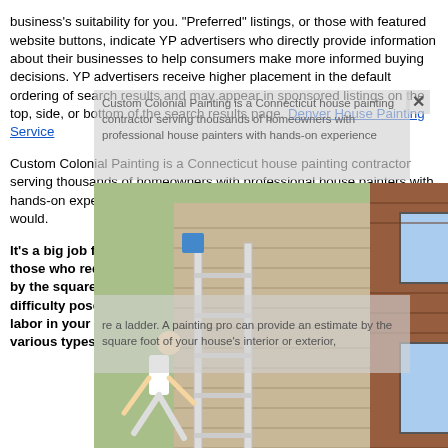business's suitability for you. "Preferred" listings, or those with featured website buttons, indicate YP advertisers who directly provide information about their businesses to help consumers make more informed buying decisions. YP advertisers receive higher placement in the default ordering of search results and may appear in sponsored listings on the top, side, or bottom of the search results page.
Denver House Painting Service
Custom Colonial Painting is a Connecticut house painting contractor serving thousands of homeowners with professional house painters with hands-on experience in residential painting throughout the area as we would. It's a big job for us, it's usually the job for us the job for those who require a ladder. A painting pro can provide an estimate by the square foot of your house's interior or exterior, the level of difficulty posed by the house's configuration, and the going rate for labor in your area. Start by researching the pros and cons of various types
[Figure (photo): Three side-by-side photos showing people on ladders doing house painting work: left image shows a person falling off a ladder near a house with siding; middle image shows a person working on a brick house exterior; right image shows a person doing acrobatics on a ladder indoors.]